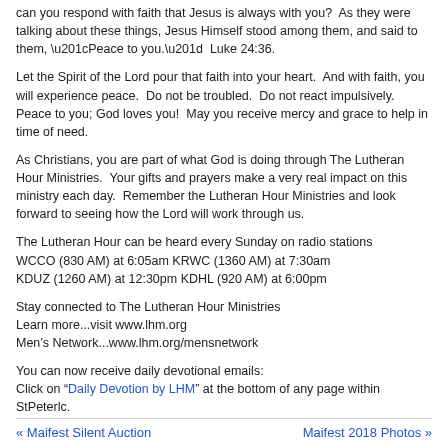can you respond with faith that Jesus is always with you?  As they were talking about these things, Jesus Himself stood among them, and said to them, “Peace to you.”  Luke 24:36.
Let the Spirit of the Lord pour that faith into your heart.  And with faith, you will experience peace.  Do not be troubled.  Do not react impulsively.  Peace to you; God loves you!  May you receive mercy and grace to help in time of need.
As Christians, you are part of what God is doing through The Lutheran Hour Ministries.  Your gifts and prayers make a very real impact on this ministry each day.  Remember the Lutheran Hour Ministries and look forward to seeing how the Lord will work through us.
The Lutheran Hour can be heard every Sunday on radio stations WCCO (830 AM) at 6:05am KRWC (1360 AM) at 7:30am KDUZ (1260 AM) at 12:30pm KDHL (920 AM) at 6:00pm
Stay connected to The Lutheran Hour Ministries
Learn more...visit www.lhm.org
Men’s Network...www.lhm.org/mensnetwork
You can now receive daily devotional emails:
Click on “Daily Devotion by LHM” at the bottom of any page within StPeterlc.
« Maifest Silent Auction    Maifest 2018 Photos »